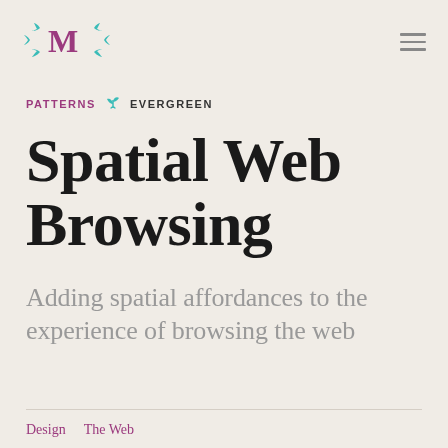[Figure (logo): Medium-style M logo with teal leaf decorations on left and right, in purple/teal colors]
PATTERNS  EVERGREEN
Spatial Web Browsing
Adding spatial affordances to the experience of browsing the web
Design  The Web